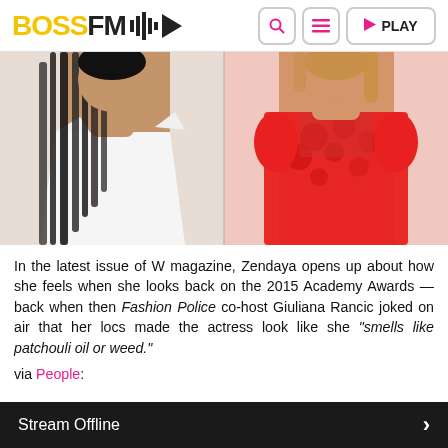BOSSFM [logo with waveform] | Search | Menu | PLAY
[Figure (photo): Two women side by side: left woman wearing white off-shoulder dress with long locs hairstyle; right woman wearing red floral lace dress with sheer bodice]
In the latest issue of W magazine, Zendaya opens up about how she feels when she looks back on the 2015 Academy Awards — back when then Fashion Police co-host Giuliana Rancic joked on air that her locs made the actress look like she "smells like patchouli oil or weed."
via People:
Stream Offline >